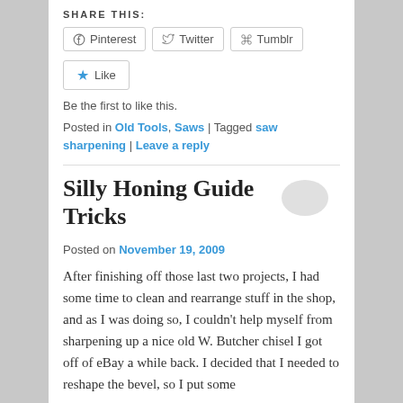SHARE THIS:
[Figure (other): Share buttons: Pinterest, Twitter, Tumblr]
[Figure (other): Like button with star icon]
Be the first to like this.
Posted in Old Tools, Saws | Tagged saw sharpening | Leave a reply
Silly Honing Guide Tricks
Posted on November 19, 2009
After finishing off those last two projects, I had some time to clean and rearrange stuff in the shop, and as I was doing so, I couldn't help myself from sharpening up a nice old W. Butcher chisel I got off of eBay a while back. I decided that I needed to reshape the bevel, so I put some